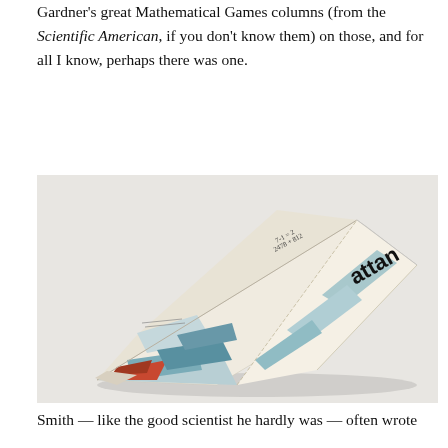Gardner's great Mathematical Games columns (from the Scientific American, if you don't know them) on those, and for all I know, perhaps there was one.
[Figure (photo): A paper airplane folded from what appears to be a magazine page, showing colorful printed imagery including text reading 'attan' and handwritten mathematical notes. The plane is photographed against a white/light grey background.]
Smith — like the good scientist he hardly was — often wrote